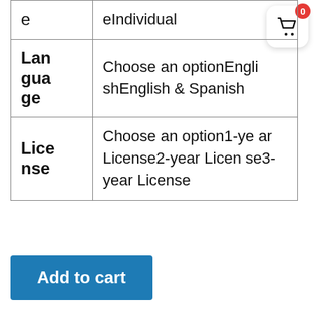| Label | Value |
| --- | --- |
| e | eIndividual |
| Language | Choose an optionEnglishEnglish & Spanish |
| License | Choose an option1-year License2-year License3-year License |
Add to cart